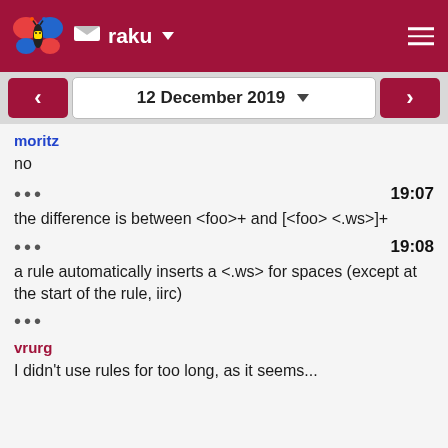raku
12 December 2019
moritz
no
19:07
the difference is between <foo>+ and [<foo> <.ws>]+
19:08
a rule automatically inserts a <.ws> for spaces (except at the start of the rule, iirc)
vrurg
I didn't use rules for too long, as it seems...